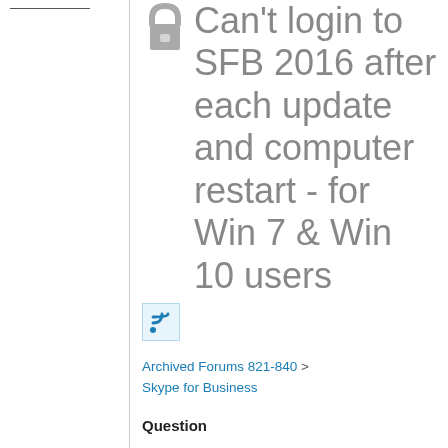Can't login to SFB 2016 after each update and computer restart - for Win 7 & Win 10 users
[Figure (other): RSS feed icon - blue Wi-Fi style signal icon on light blue background]
Archived Forums 821-840 > Skype for Business
Question